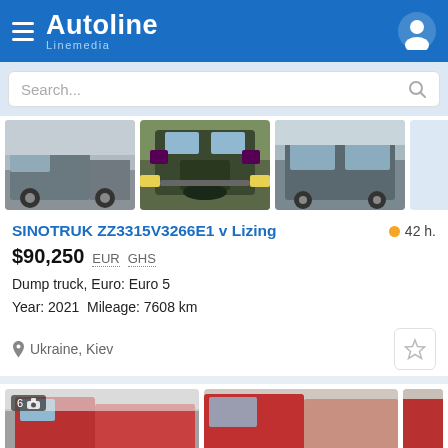Autoline Linemedia
Search...
[Figure (photo): Three thumbnail photos of a SINOTRUK dump truck from different angles — side, front, and rear/side views]
SINOTRUK ZZ3315V3266E1 v Lizing
42 h.
$90,250  EUR  GHS
Dump truck, Euro: Euro 5
Year: 2021  Mileage: 7608 km
Ukraine, Kiev
[Figure (photo): Two partial thumbnail photos of red trucks at the bottom of the listing page]